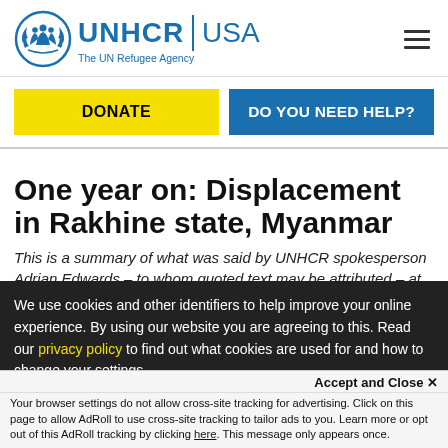UNHCR | USA — The UN Refugee Agency
DONATE
DO YOU NEED HELP?
One year on: Displacement in Rakhine state, Myanmar
This is a summary of what was said by UNHCR spokesperson Adrian Edwards – to whom quoted text may be attributed – at today's press briefing
We use cookies and other identifiers to help improve your online experience. By using our website you are agreeing to this. Read our privacy policy to find out what cookies are used for and how to change your settings.
Accept and Close ×
Your browser settings do not allow cross-site tracking for advertising. Click on this page to allow AdRoll to use cross-site tracking to tailor ads to you. Learn more or opt out of this AdRoll tracking by clicking here. This message only appears once.